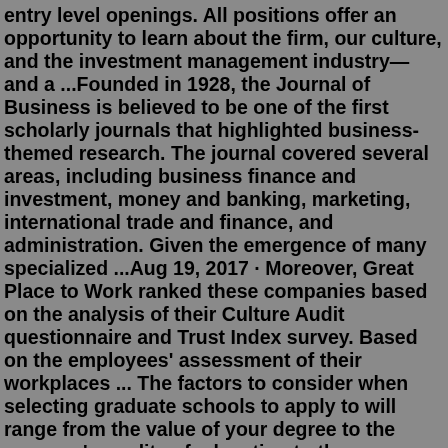entry level openings. All positions offer an opportunity to learn about the firm, our culture, and the investment management industry—and a ...Founded in 1928, the Journal of Business is believed to be one of the first scholarly journals that highlighted business-themed research. The journal covered several areas, including business finance and investment, money and banking, marketing, international trade and finance, and administration. Given the emergence of many specialized ...Aug 19, 2017 · Moreover, Great Place to Work ranked these companies based on the analysis of their Culture Audit questionnaire and Trust Index survey. Based on the employees' assessment of their workplaces ... The factors to consider when selecting graduate schools to apply to will range from the value of your degree to the program's quality of education to the professors you wish to work with. This list of the most prestigious graduate schools in the world can provide you with additional information when choosing which schools to apply to.A select number of summer interns